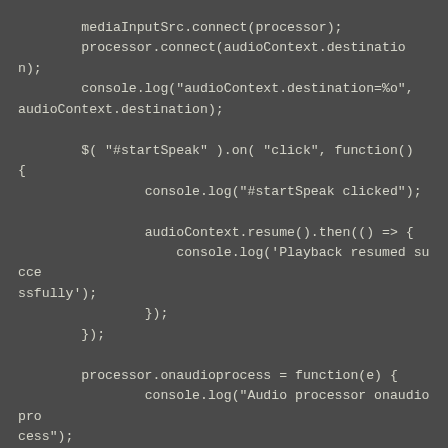mediaInputSrc.connect(processor);
            processor.connect(audioContext.destination);
            console.log("audioContext.destination=%o", audioContext.destination);

            $( "#startSpeak" ).on( "click", function()
            {
                    console.log("#startSpeak clicked");

                    audioContext.resume().then(() =&gt; {
                        console.log('Playback resumed successfully');
                    });
            });

            processor.onaudioprocess = function(e) {
                    console.log("Audio processor onaudioprocess");
                    // Do something with the data, i.e Convert this to WAV
                    console.log(e.inputBuffer);